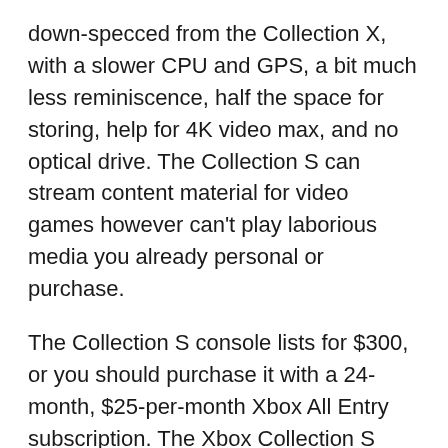down-specced from the Collection X, with a slower CPU and GPS, a bit much less reminiscence, half the space for storing, help for 4K video max, and no optical drive. The Collection S can stream content material for video games however can't play laborious media you already personal or purchase.
The Collection S console lists for $300, or you should purchase it with a 24-month, $25-per-month Xbox All Entry subscription. The Xbox Collection S console is a lower-priced alternative for gamers who don't need to spend $500 on a sport console or who're extra informal about their gameplay. With the present scarcity of obtainable Xbox consoles, you'll most likely need to pay near $500 to purchase a Collection S console anyway, except you luck out by discovering one in the course of the transient availability home windows when a brand new cargo arrives at a retail